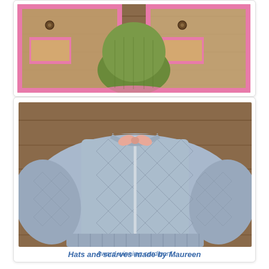[Figure (photo): Photo of a knitted cardigan with pink trim and buttons alongside a green knit hat, laid on a wooden surface.]
[Figure (photo): Photo of a blue lace-patterned knitted cardigan with zipper and pink bow, laid on a wooden surface.]
Award winning cardigan!
Hats and scarves made by Maureen